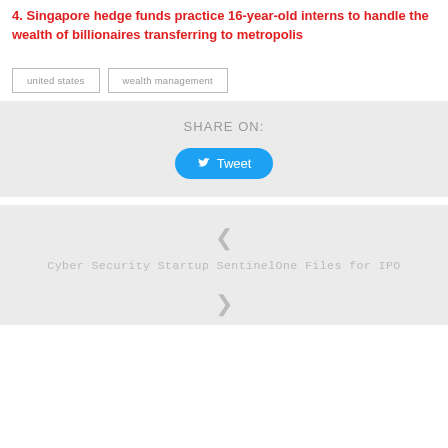4. Singapore hedge funds practice 16-year-old interns to handle the wealth of billionaires transferring to metropolis
byline/author line (faint)
united states
wealth management
SHARE ON:
Tweet
Cyber Security Startup SentinelOne Files for IPO